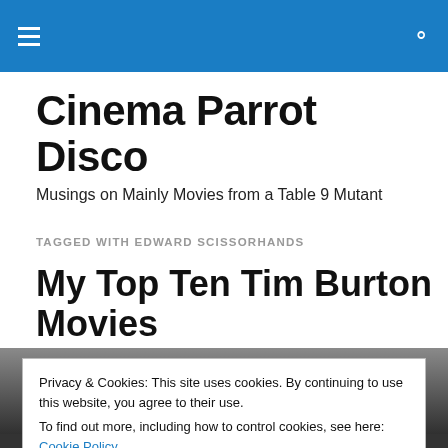Cinema Parrot Disco — navigation bar with hamburger menu and search icon
Cinema Parrot Disco
Musings on Mainly Movies from a Table 9 Mutant
TAGGED WITH EDWARD SCISSORHANDS
My Top Ten Tim Burton Movies
[Figure (photo): Black and white photograph partially visible behind cookie banner]
Privacy & Cookies: This site uses cookies. By continuing to use this website, you agree to their use.
To find out more, including how to control cookies, see here: Cookie Policy
Close and accept